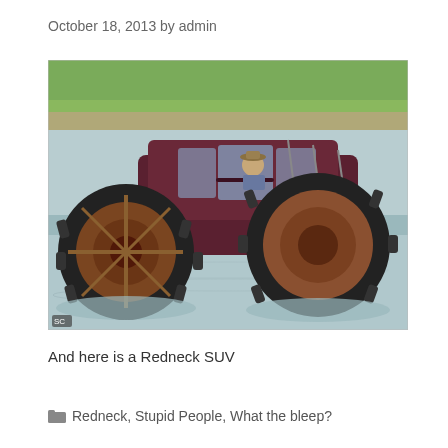October 18, 2013 by admin
[Figure (photo): A modified SUV/station wagon with enormous tractor tires strapped to it, driving through a shallow body of water. A man with a hat sits in the driver's seat. Green vegetation visible in background. Vehicle is dark maroon/burgundy color.]
And here is a Redneck SUV
Redneck, Stupid People, What the bleep?